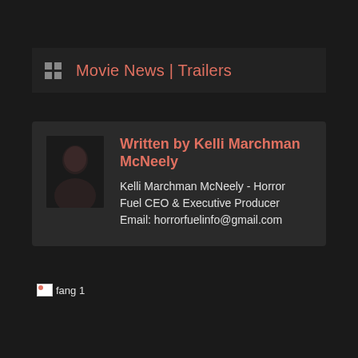Movie News | Trailers
Written by Kelli Marchman McNeely
Kelli Marchman McNeely - Horror Fuel CEO & Executive Producer Email: horrorfuelinfo@gmail.com
[Figure (photo): Broken image placeholder labeled 'fang 1']